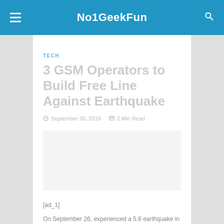No1GeekFun
TECH
3 GSM Operators to Build Free Line Against Earthquake
September 30, 2019  2 Min Read
[ad_1]
On September 26, experienced a 5.8 earthquake in Istanbul's Silivri then open networks of all GSM